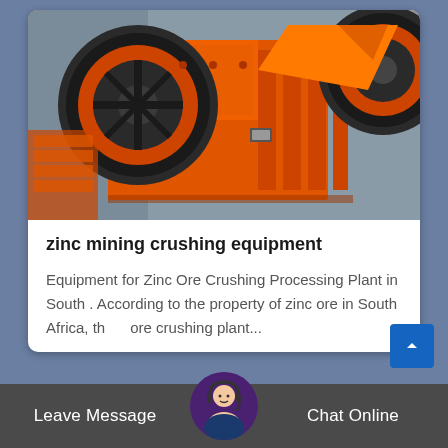[Figure (photo): Orange industrial jaw crusher machine with large black flywheels, used for zinc mining crushing equipment, photographed in a factory setting.]
zinc mining crushing equipment
Equipment for Zinc Ore Crushing Processing Plant in South . According to the property of zinc ore in South Africa, the ore crushing plant...
Leave Message   Chat Online